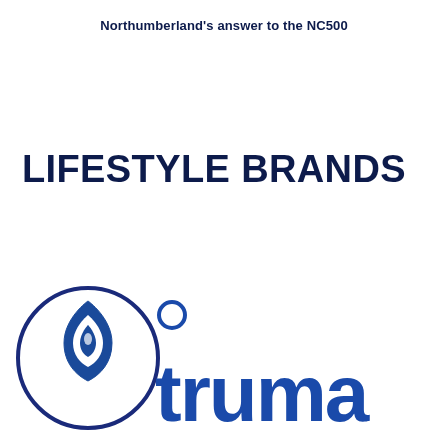Northumberland's answer to the NC500
LIFESTYLE BRANDS
[Figure (logo): Truma logo: a circular emblem with a blue flame/leaf icon on white background with dark blue border, followed by the word 'truma' in large bold blue lowercase letters]